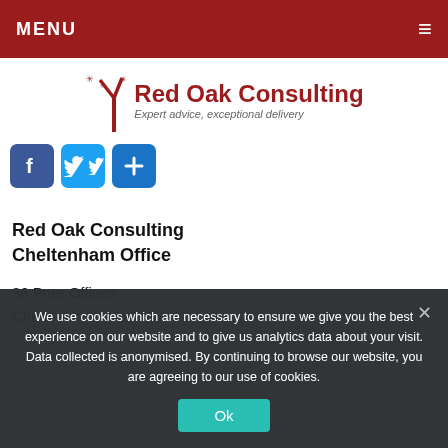MENU
[Figure (logo): Red Oak Consulting logo with tree icon and tagline 'Expert advice, exceptional delivery']
[Figure (infographic): Social sharing buttons: Facebook, Twitter, Share]
Red Oak Consulting Cheltenham Office
36 Pure Offices
Cheltenham Office Park
We use cookies which are necessary to ensure we give you the best experience on our website and to give us analytics data about your visit. Data collected is anonymised. By continuing to browse our website, you are agreeing to our use of cookies.